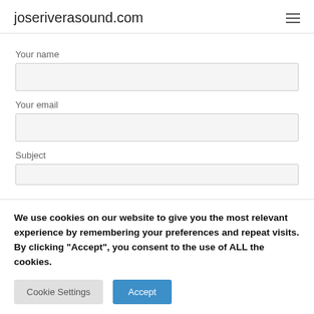joseriverasound.com
Your name
Your email
Subject
We use cookies on our website to give you the most relevant experience by remembering your preferences and repeat visits. By clicking “Accept”, you consent to the use of ALL the cookies.
Cookie Settings
Accept